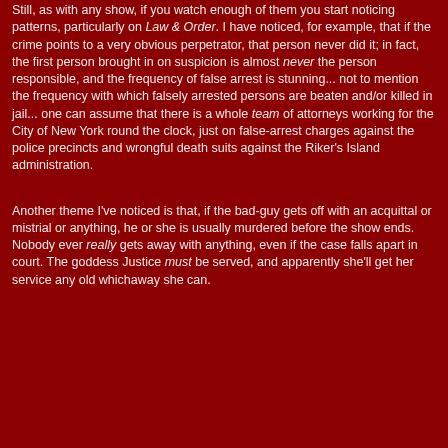Still, as with any show, if you watch enough of them you start noticing patterns, particularly on Law & Order. I have noticed, for example, that if the crime points to a very obvious perpetrator, that person never did it; in fact, the first person brought in on suspicion is almost never the person responsible, and the frequency of false arrest is stunning... not to mention the frequency with which falsely arrested persons are beaten and/or killed in jail... one can assume that there is a whole team of attorneys working for the City of New York round the clock, just on false-arrest charges against the police precincts and wrongful death suits against the Riker's Island administration.
Another theme I've noticed is that, if the bad-guy gets off with an acquittal or mistrial or anything, he or she is usually murdered before the show ends. Nobody ever really gets away with anything, even if the case falls apart in court. The goddess Justice must be served, and apparently she'll get her service any old whichaway she can.